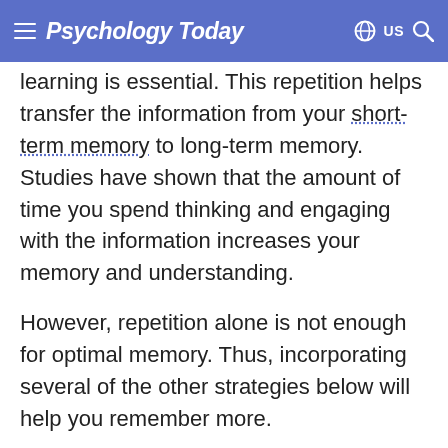Psychology Today
learning is essential. This repetition helps transfer the information from your short-term memory to long-term memory. Studies have shown that the amount of time you spend thinking and engaging with the information increases your memory and understanding.
However, repetition alone is not enough for optimal memory. Thus, incorporating several of the other strategies below will help you remember more.
3. Test Yourself. Reading information over and over again may trick you into thinking that you know the information. However, many studies...